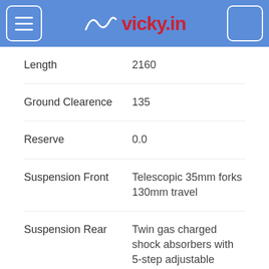vicky.in
| Specification | Value |
| --- | --- |
| Length | 2160 |
| Ground Clearence | 135 |
| Reserve | 0.0 |
| Suspension Front | Telescopic 35mm forks 130mm travel |
| Suspension Rear | Twin gas charged shock absorbers with 5-step adjustable preload 80mm travel |
| Brakes Front | 280mm Disc 2-Piston caliper |